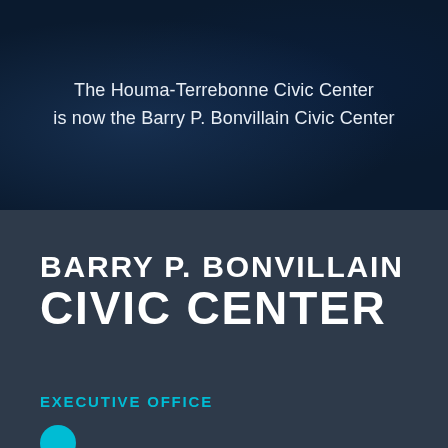The Houma-Terrebonne Civic Center is now the Barry P. Bonvillain Civic Center
BARRY P. BONVILLAIN CIVIC CENTER
EXECUTIVE OFFICE